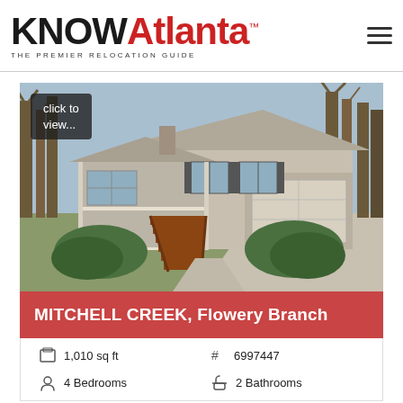[Figure (logo): KNOWAtlanta - The Premier Relocation Guide logo with hamburger menu icon]
[Figure (photo): Exterior photo of a single-story home with raised front porch, red/brown wooden stairs, attached two-car garage, trimmed shrubs, leafless trees in background, blue sky. Overlay text: 'click to view...']
MITCHELL CREEK, Flowery Branch
1,010 sq ft
# 6997447
4 Bedrooms
2 Bathrooms